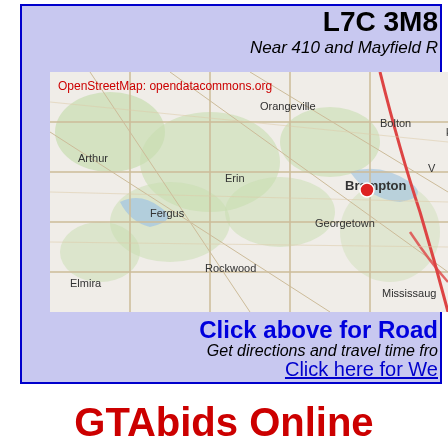L7C 3M8
Near 410 and Mayfield R
[Figure (map): OpenStreetMap showing region near Brampton, Ontario, Canada. Labels include Orangeville, Bolton, Arthur, Erin, Fergus, Georgetown, Rockwood, Elmira, Brampton, Mississauga. Red dot marker placed near Brampton area. Credit: OpenStreetMap: opendatacommons.org]
Click above for Road
Get directions and travel time fro
Click here for We
GTAbids Online